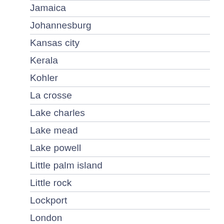Jamaica
Johannesburg
Kansas city
Kerala
Kohler
La crosse
Lake charles
Lake mead
Lake powell
Little palm island
Little rock
Lockport
London
Los angeles